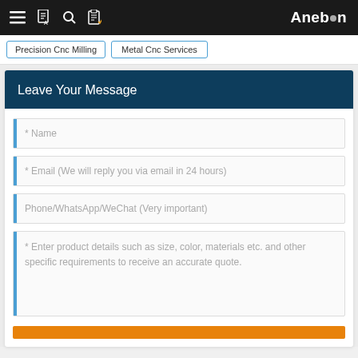Anebon — navigation bar with menu, translate, search, clipboard icons
Precision Cnc Milling
Metal Cnc Services
Leave Your Message
* Name
* Email (We will reply you via email in 24 hours)
Phone/WhatsApp/WeChat (Very important)
* Enter product details such as size, color, materials etc. and other specific requirements to receive an accurate quote.